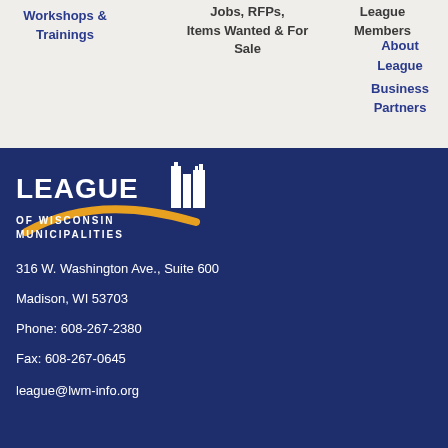Workshops & Trainings | Jobs, RFPs, Items Wanted & For Sale | League Members | About League | Business Partners
[Figure (logo): League of Wisconsin Municipalities logo with city skyline silhouette and golden arc swoosh]
316 W. Washington Ave., Suite 600
Madison, WI 53703
Phone: 608-267-2380
Fax: 608-267-0645
league@lwm-info.org